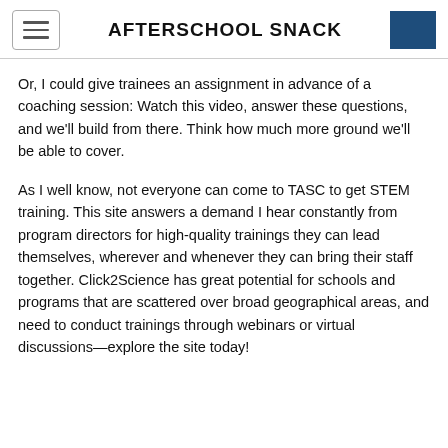AFTERSCHOOL SNACK
Or, I could give trainees an assignment in advance of a coaching session: Watch this video, answer these questions, and we'll build from there. Think how much more ground we'll be able to cover.
As I well know, not everyone can come to TASC to get STEM training. This site answers a demand I hear constantly from program directors for high-quality trainings they can lead themselves, wherever and whenever they can bring their staff together. Click2Science has great potential for schools and programs that are scattered over broad geographical areas, and need to conduct trainings through webinars or virtual discussions—explore the site today!